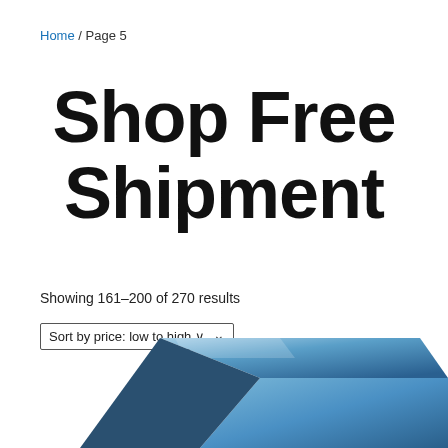Home / Page 5
Shop Free Shipment
Showing 161–200 of 270 results
Sort by price: low to high ✓
[Figure (photo): Partial product image showing a blue laptop or device at the bottom of the page]